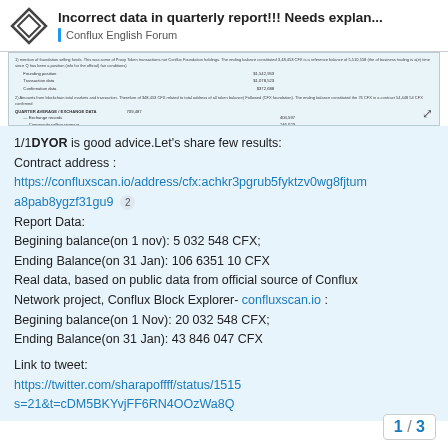Incorrect data in quarterly report!!! Needs explan... | Conflux English Forum
[Figure (screenshot): Screenshot of a financial report document showing balance data tables]
1/1DYOR is good advice.Let's share few results:
Contract address :
https://confluxscan.io/address/cfx:achkr3pgrub5fyktzv0wg8fjtuma8pab8ygzf31gu9 [2]
Report Data:
Begining balance(on 1 nov): 5 032 548 CFX;
Ending Balance(on 31 Jan): 106 6351 10 CFX
Real data, based on public data from official source of Conflux Network project, Conflux Block Explorer- confluxscan.io :
Begining balance(on 1 Nov): 20 032 548 CFX;
Ending Balance(on 31 Jan): 43 846 047 CFX

Link to tweet:
https://twitter.com/sharapoffff/status/1515...s=21&t=cDM5BKYvjFF6RN4OOzWa8Q
1 / 3